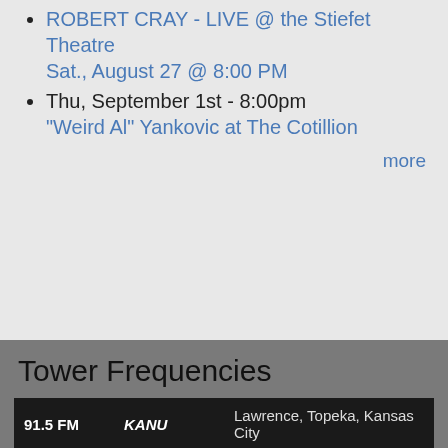ROBERT CRAY - LIVE @ the Stiefet Theatre Sat., August 27 @ 8:00 PM
Thu, September 1st - 8:00pm "Weird Al" Yankovic at The Cotillion
more
Tower Frequencies
| Frequency | Call Sign | Location |
| --- | --- | --- |
| 91.5 FM | KANU | Lawrence, Topeka, Kansas City |
| 96.1 FM | K241AR | Lawrence (KPR2) |
| 89.7 FM | KANH | Emporia |
| 99.5 FM | K258BT | Manhattan |
| 97.9 FM | K250AY | Manhattan (KPR2) |
| 91.3 FM | KANV | Junction City, Olsburg |
| 89.9 FM | K210CR | Atchison |
| 90.3 FM | KANQ | Chanute |